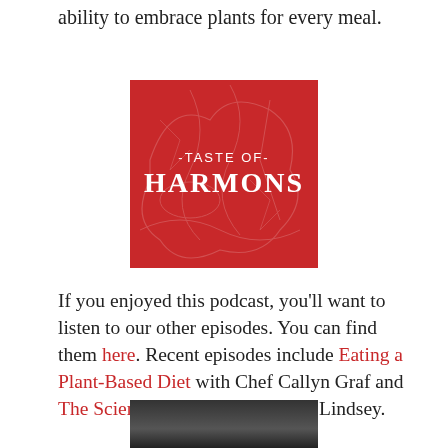ability to embrace plants for every meal.
[Figure (logo): Taste of Harmons podcast logo — red square background with decorative plant/wheat line art, text '-TASTE OF-' above 'HARMONS' in bold serif font, all in white.]
If you enjoyed this podcast, you'll want to listen to our other episodes. You can find them here. Recent episodes include Eating a Plant-Based Diet with Chef Callyn Graf and The Science of Bread with Jason Lindsey.